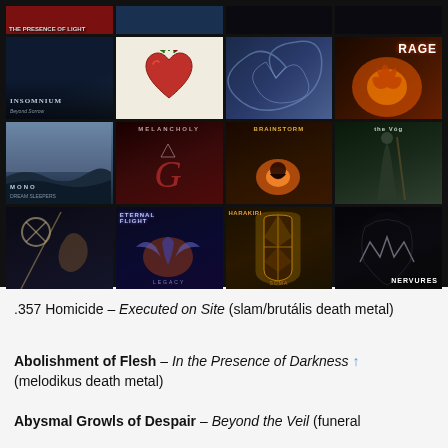[Figure (illustration): Grid of metal album covers arranged in 4 columns and 4 rows (partially cut at top). Visible albums include Insomnium, RAGE, Melancholy, Brainstorm, Mono, Eternal Flight, Nervures, and others with various dark/metal artwork.]
.357 Homicide – Executed on Site (slam/brutális death metal)
Abolishment of Flesh – In the Presence of Darkness (melodikus death metal)
Abysmal Growls of Despair – Beyond the Veil (funeral